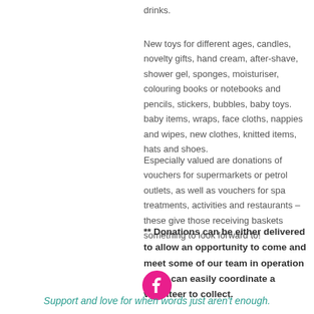drinks.
New toys for different ages, candles, novelty gifts, hand cream, after-shave, shower gel, sponges, moisturiser, colouring books or notebooks and pencils, stickers, bubbles, baby toys. baby items, wraps, face cloths, nappies and wipes, new clothes, knitted items, hats and shoes.
Especially valued are donations of vouchers for supermarkets or petrol outlets, as well as vouchers for spa treatments, activities and restaurants – these give those receiving baskets something to look forward to!
** Donations can be either delivered to allow an opportunity to come and meet some of our team in operation or we can easily coordinate a volunteer to collect.
[Figure (logo): Pink circular Facebook icon]
Support and love for when words just aren't enough.